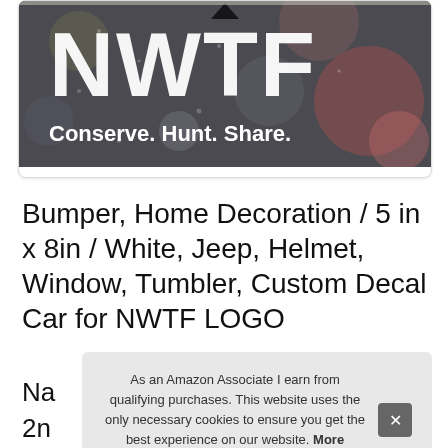[Figure (logo): NWTF banner image with 'NWTF' large white text and tagline 'Conserve. Hunt. Share.' on a dark rainy/bokeh background]
Bumper, Home Decoration / 5 in x 8in / White, Jeep, Helmet, Window, Tumbler, Custom Decal Car for NWTF LOGO
Na
2n
Mo
As an Amazon Associate I earn from qualifying purchases. This website uses the only necessary cookies to ensure you get the best experience on our website. More information